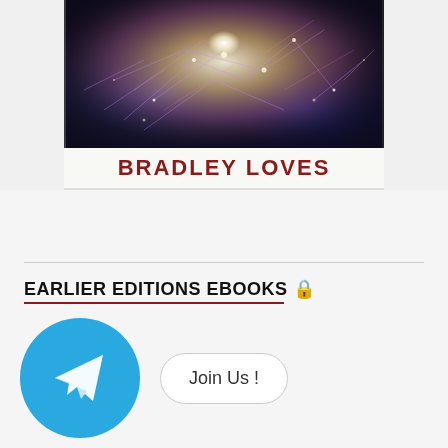[Figure (photo): Partial view of a book cover with abstract cosmic/neural network imagery and the author name BRADLEY LOVES on the spine area in dark red bold text on a white/cream band]
EARLIER EDITIONS EBOOKS 🔒
[Figure (logo): Telegram app logo — white paper plane icon on a blue circle background, with a 'Join Us !' button to the right]